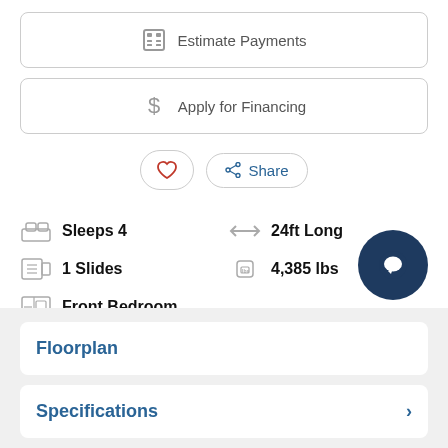Estimate Payments
Apply for Financing
Share
Sleeps 4
24ft Long
1 Slides
4,385 lbs
Front Bedroom
Floorplan
Specifications